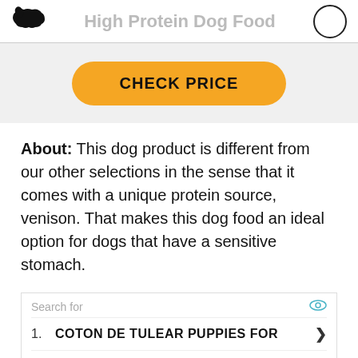High Protein Dog Food
[Figure (other): Orange rounded button with text CHECK PRICE on grey background]
About: This dog product is different from our other selections in the sense that it comes with a unique protein source, venison. That makes this dog food an ideal option for dogs that have a sensitive stomach.
Search for
1. COTON DE TULEAR PUPPIES FOR
2. BEST DRY DOG FOODS
Ad | Business Focus